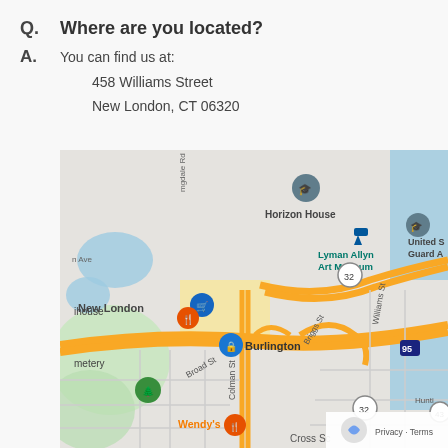Q.   Where are you located?
A.   You can find us at:
458 Williams Street
New London, CT 06320
[Figure (map): Google Maps screenshot showing New London, CT area with streets including Williams St, Colman St, Broad St, Briggs St, with landmarks including Horizon House, Lyman Allyn Art Museum, Burlington store, Wendy's restaurant, and interstate highway 95 and route 32.]